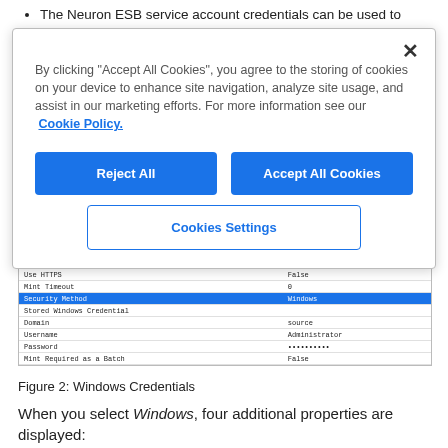The Neuron ESB service account credentials can be used to login to Dynamics CRM. To use the
[Figure (screenshot): Cookie consent modal dialog with 'Reject All', 'Accept All Cookies', and 'Cookies Settings' buttons, and close X button. Text: By clicking "Accept All Cookies", you agree to the storing of cookies on your device to enhance site navigation, analyze site usage, and assist in our marketing efforts. For more information see our Cookie Policy.]
[Figure (screenshot): Windows Credentials configuration table showing fields: Application Type (Authorisation), Server Address (crm2016.al), Organisation Name (ResourceDemo), Use HTTPS (False), Mint Timeout (0), Security Method (Windows, highlighted in blue), Stored Windows Credential, Domain (source), Username (Administrator), Password (dots), Mint Required as a Batch (False)]
Figure 2: Windows Credentials
When you select Windows, four additional properties are displayed: